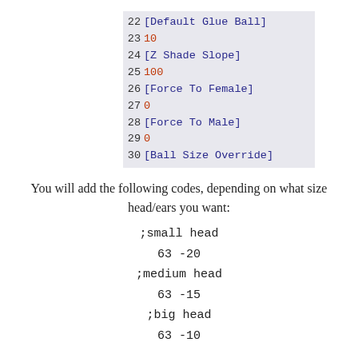22 [Default Glue Ball]
23 10
24 [Z Shade Slope]
25 100
26 [Force To Female]
27 0
28 [Force To Male]
29 0
30 [Ball Size Override]
You will add the following codes, depending on what size head/ears you want:
;small head
63 -20
;medium head
63 -15
;big head
63 -10

;small ears
16 0
17 0
18 0
19 0
20 0